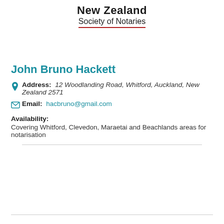New Zealand Society of Notaries
John Bruno Hackett
Address: 12 Woodlanding Road, Whitford, Auckland, New Zealand 2571
Email: hacbruno@gmail.com
Availability: Covering Whitford, Clevedon, Maraetai and Beachlands areas for notarisation